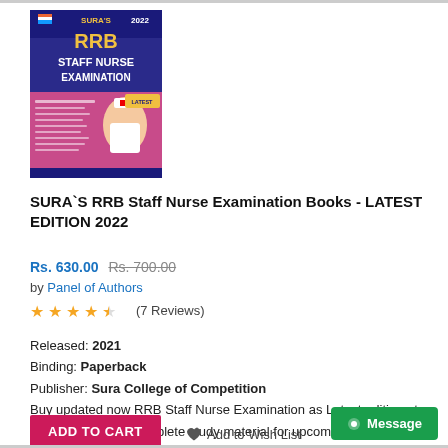[Figure (photo): Book cover of SURA'S RRB Staff Nurse Examination 2022, featuring blue and pink design with a nurse image]
SURA`S RRB Staff Nurse Examination Books - LATEST EDITION 2022
Rs. 630.00 Rs. 700.00
by Panel of Authors
★★★★½ (7 Reviews)
Released: 2021
Binding: Paperback
Publisher: Sura College of Competition
Buy updated now RRB Staff Nurse Examination as Latest edition at Sura books . The complete study material for upcoming examination 2022.